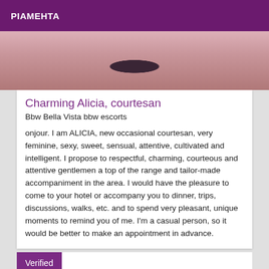PIAMEHTA
[Figure (photo): Partial photo of a person, showing torso area with pink/mauve tones and a dark vertical element in center.]
Charming Alicia, courtesan
Bbw Bella Vista bbw escorts
onjour. I am ALICIA, new occasional courtesan, very feminine, sexy, sweet, sensual, attentive, cultivated and intelligent. I propose to respectful, charming, courteous and attentive gentlemen a top of the range and tailor-made accompaniment in the area. I would have the pleasure to come to your hotel or accompany you to dinner, trips, discussions, walks, etc. and to spend very pleasant, unique moments to remind you of me. I'm a casual person, so it would be better to make an appointment in advance.
Verified